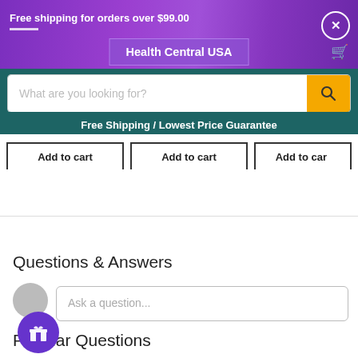Free shipping for orders over $99.00
Health Central USA
Free Shipping / Lowest Price Guarantee
Add to cart | Add to cart | Add to cart
Questions & Answers
Ask a question...
Popular Questions